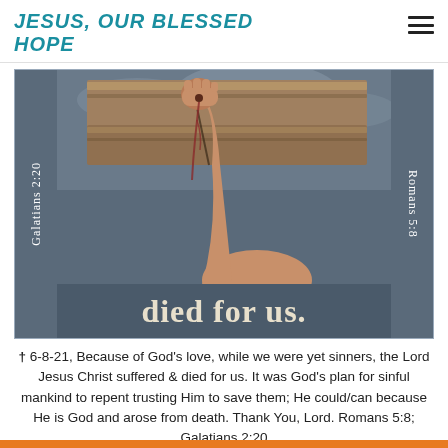JESUS, OUR BLESSED HOPE
[Figure (illustration): Religious image showing an arm with a nail wound raised against wooden cross planks with a stormy sky. Left side reads 'Galatians 2:20', right side reads 'Romans 5:8'. Bottom text reads 'died for us.' in Gothic/Old English style font on a dark blue-grey background.]
† 6-8-21, Because of God's love, while we were yet sinners, the Lord Jesus Christ suffered & died for us. It was God's plan for sinful mankind to repent trusting Him to save them; He could/can because He is God and arose from death. Thank You, Lord. Romans 5:8; Galatians 2:20